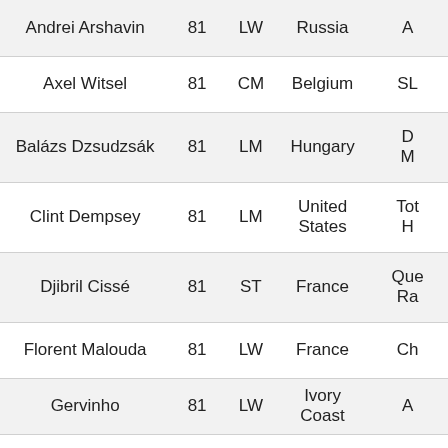| Name | Rating | Position | Nationality | Club |
| --- | --- | --- | --- | --- |
| Andrei Arshavin | 81 | LW | Russia | A… |
| Axel Witsel | 81 | CM | Belgium | SL… |
| Balázs Dzsudzsák | 81 | LM | Hungary | D… M… |
| Clint Dempsey | 81 | LM | United States | Tot… H… |
| Djibril Cissé | 81 | ST | France | Que… Ra… |
| Florent Malouda | 81 | LW | France | Ch… |
| Gervinho | 81 | LW | Ivory Coast | A… |
| Goran Pandev | 81 | CF | FYR Macedonia | N… |